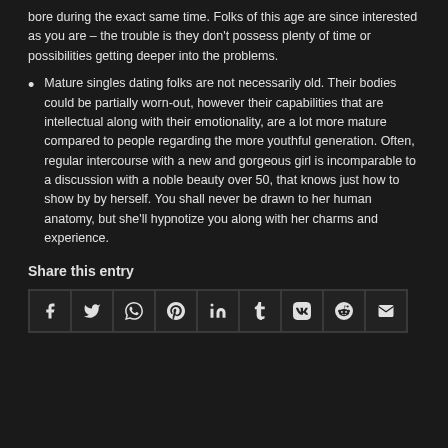bore during the exact same time. Folks of this age are since interested as you are – the trouble is they don't possess plenty of time or possibilities getting deeper into the problems.
Mature singles dating folks are not necessarily old. Their bodies could be partially worn-out, however their capabilities that are intellectual along with their emotionality, are a lot more mature compared to people regarding the more youthful generation. Often, regular intercourse with a new and gorgeous girl is incomparable to a discussion with a noble beauty over 50, that knows just how to show by by herself. You shall never be drawn to her human anatomy, but she'll hypnotize you along with her charms and experience.
Share this entry